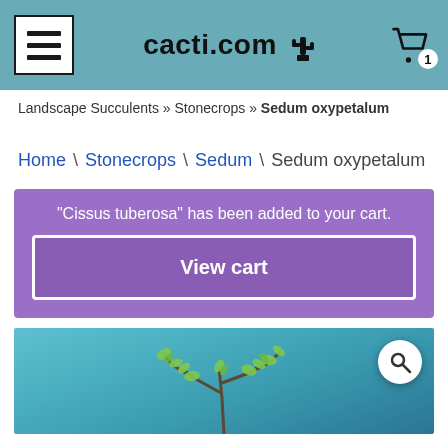cacti.com
Landscape Succulents » Stonecrops » Sedum oxypetalum
Home \ Stonecrops \ Sedum \ Sedum oxypetalum
"Cissus tuberosa" has been added to your cart.
View cart
[Figure (photo): A Sedum oxypetalum plant with small green leaves on branching stems against a teal/blue background, with a search magnifier overlay button]